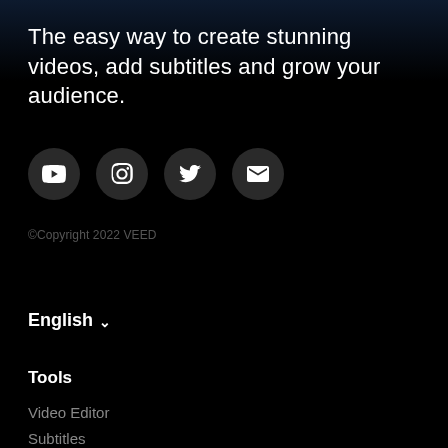The easy way to create stunning videos, add subtitles and grow your audience.
[Figure (illustration): Four social media icon buttons (YouTube, Instagram, Twitter, Email) displayed as circular dark buttons with white icons.]
©Copyright 2022 VEED
English ∨
Tools
Video Editor
Subtitles